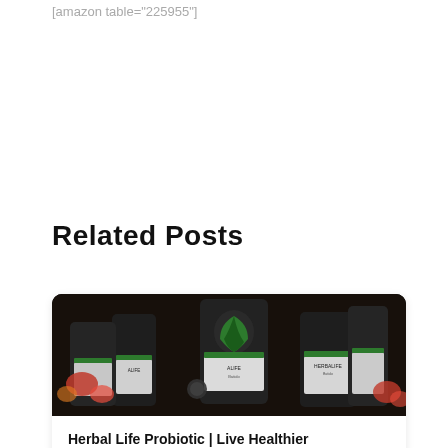[amazon table="225955"]
Related Posts
[Figure (photo): Dark background photo showing multiple Herbalife protein shake containers/bottles lined up]
Herbal Life Probiotic | Live Healthier